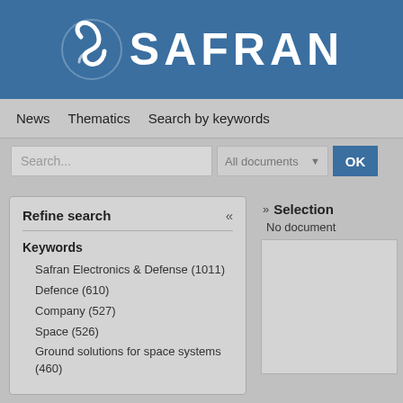[Figure (logo): SAFRAN company logo — white S-shaped swoosh icon on blue background with white SAFRAN text]
News   Thematics   Search by keywords
Search...   All documents   OK
Refine search
Keywords
Safran Electronics & Defense (1011)
Defence (610)
Company (527)
Space (526)
Ground solutions for space systems (460)
Selection
No document